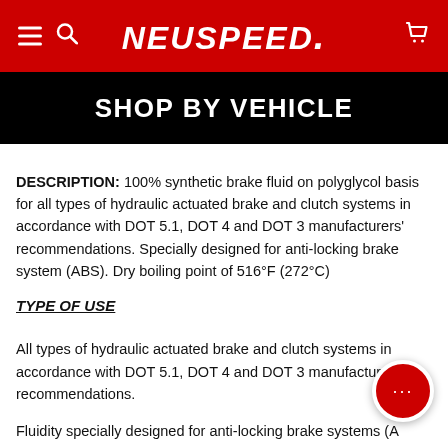NEUSPEED
SHOP BY VEHICLE
DESCRIPTION: 100% synthetic brake fluid on polyglycol basis for all types of hydraulic actuated brake and clutch systems in accordance with DOT 5.1, DOT 4 and DOT 3 manufacturers' recommendations. Specially designed for anti-locking brake system (ABS). Dry boiling point of 516°F (272°C)
TYPE OF USE
All types of hydraulic actuated brake and clutch systems in accordance with DOT 5.1, DOT 4 and DOT 3 manufacturers' recommendations.
Fluidity specially designed for anti-locking brake systems (A…
PERFORMANCE